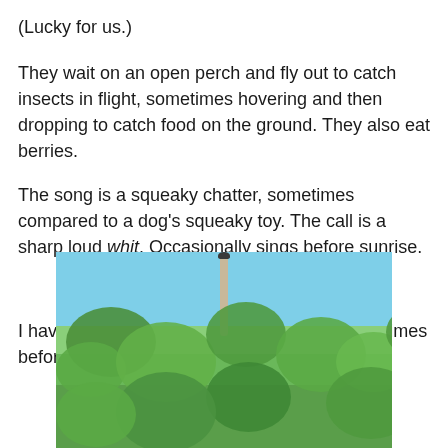(Lucky for us.)
They wait on an open perch and fly out to catch insects in flight, sometimes hovering and then dropping to catch food on the ground. They also eat berries.
The song is a squeaky chatter, sometimes compared to a dog's squeaky toy. The call is a sharp loud whit. Occasionally sings before sunrise.
I have only seen this bird maybe three or four times before, so it was a nice find.
[Figure (photo): Photograph of a bird perched at the top of a bare tree trunk surrounded by green leafy shrubs against a blue sky.]